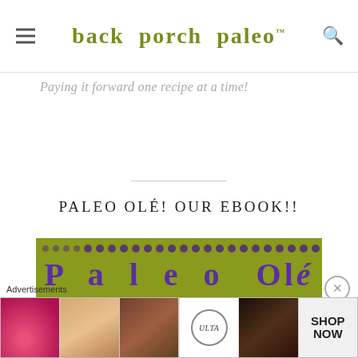back porch paleo™
Paying it forward one recipe at a time!
PALEO OLÉ! OUR EBOOK!!
[Figure (illustration): Paleo Olé ebook cover image with olive green background and purple dotted border, showing partial purple stylized text]
[Figure (photo): Advertisements strip showing beauty ads including lips, makeup brush, eye, Ulta logo, eye, and SHOP NOW text on light background]
Advertisements